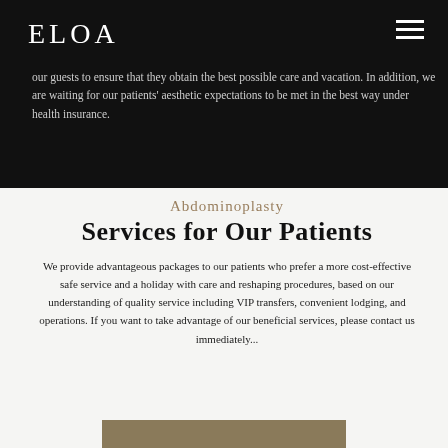ELOA
our guests to ensure that they obtain the best possible care and vacation. In addition, we are waiting for our patients' aesthetic expectations to be met in the best way under health insurance.
Abdominoplasty
Services for Our Patients
We provide advantageous packages to our patients who prefer a more cost-effective safe service and a holiday with care and reshaping procedures, based on our understanding of quality service including VIP transfers, convenient lodging, and operations. If you want to take advantage of our beneficial services, please contact us immediately...
[Figure (other): Brown/tan decorative bar or image strip at the bottom of the content section]